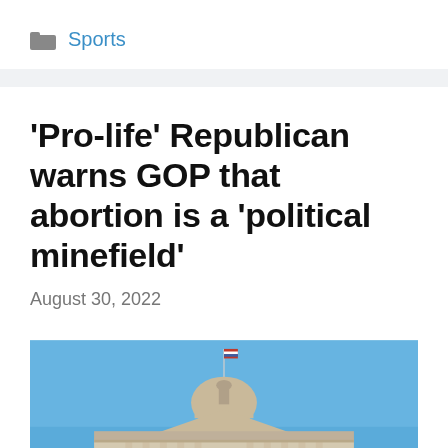Sports
'Pro-life' Republican warns GOP that abortion is a 'political minefield'
August 30, 2022
[Figure (photo): Exterior view of a government capitol building dome against a clear blue sky, with a flag visible at the top of the flagpole. A scroll-to-top button is visible in the bottom right corner.]